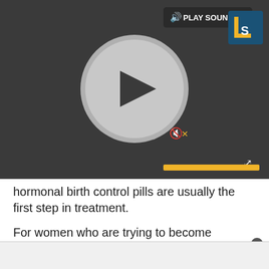[Figure (screenshot): Video player UI with dark background, circular play button, PLAY SOUND label, LS logo, mute icon, and yellow progress bar]
hormonal birth control pills are usually the first step in treatment.
For women who are trying to become pregnant, treatment may involve gonadotropin-releasing hormone (GnRH) agonist, which stops ovulation, according to the Office on Women's Health. This treatment is usually recommended for only six months at a time, and pregnancy is possible once treatment is stopped, according to the NICHD.